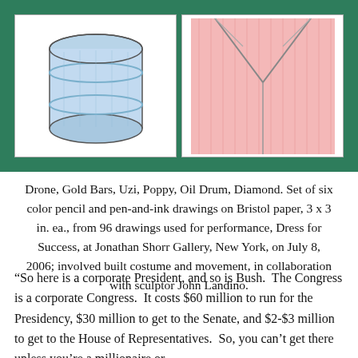[Figure (illustration): Two children's color pencil drawings side by side on a dark green background. Left drawing: a blue oil drum / barrel. Right drawing: a red diamond shape or dress front.]
Drone, Gold Bars, Uzi, Poppy, Oil Drum, Diamond. Set of six color pencil and pen-and-ink drawings on Bristol paper, 3 x 3 in. ea., from 96 drawings used for performance, Dress for Success, at Jonathan Shorr Gallery, New York, on July 8, 2006; involved built costume and movement, in collaboration with sculptor John Landino.
“So here is a corporate President, and so is Bush.  The Congress is a corporate Congress.  It costs $60 million to run for the Presidency, $30 million to get to the Senate, and $2-$3 million to get to the House of Representatives.  So, you can’t get there unless you’re a millionaire or